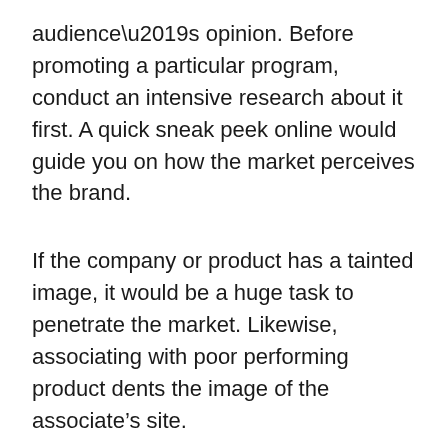audience’s opinion. Before promoting a particular program, conduct an intensive research about it first. A quick sneak peek online would guide you on how the market perceives the brand.
If the company or product has a tainted image, it would be a huge task to penetrate the market. Likewise, associating with poor performing product dents the image of the associate’s site.
Contrarily, a well-accepted brand enhances the chances of making more commissions. This is because the market tends to trust well-reviewed